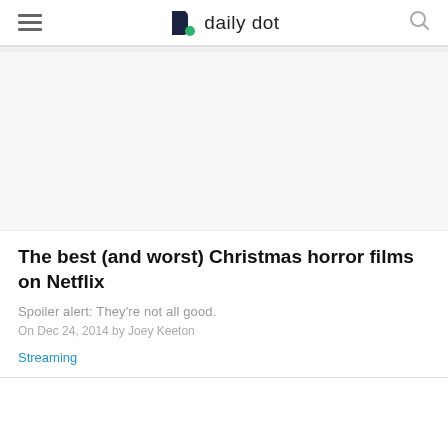daily dot
[Figure (other): Article header image area (blank/white placeholder)]
The best (and worst) Christmas horror films on Netflix
Spoiler alert: They're not all good.
On Dec 24, 2014 by Joey Keeton
Streaming